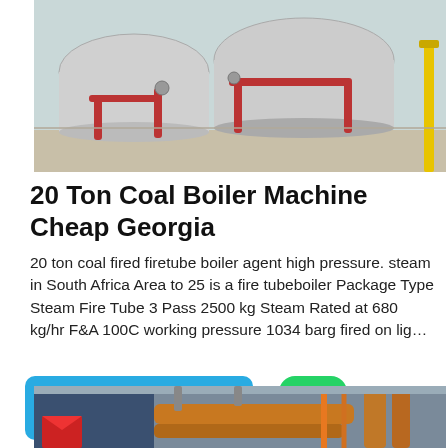[Figure (photo): Industrial boilers in a facility showing large cylindrical boiler tanks with red and orange pipes and yellow structural supports on a concrete floor.]
20 Ton Coal Boiler Machine Cheap Georgia
20 ton coal fired firetube boiler agent high pressure. steam in South Africa Area to 25 is a fire tubeboiler Package Type Steam Fire Tube 3 Pass 2500 kg Steam Rated at 680 kg/hr F&A 100C working pressure 1034 barg fired on lig…
[Figure (screenshot): Get Price button (blue rounded rectangle) and WhatsApp icon with Contact us now! green button]
[Figure (photo): Industrial boiler room with large blue cylindrical boiler, red branding, orange and copper large pipes, and orange metal scaffolding/structure in background.]